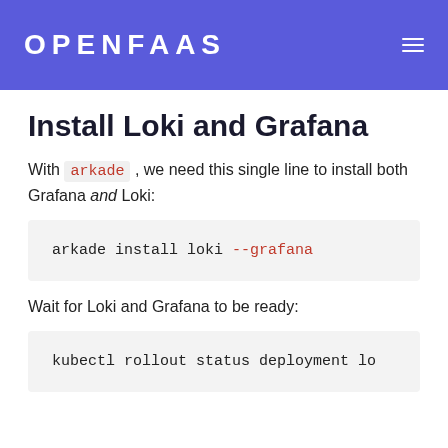OPENFAAS
Install Loki and Grafana
With arkade , we need this single line to install both Grafana and Loki:
arkade install loki --grafana
Wait for Loki and Grafana to be ready:
kubectl rollout status deployment lo